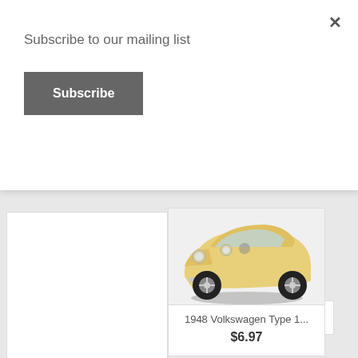Subscribe to our mailing list
Subscribe
[Figure (photo): Partial view of a yellow 1948 Volkswagen Type 1 Beetle die-cast model car, showing front and side, against a white background.]
1948 Volkswagen Type 1...
$6.97
Showing 1-12 of 60 item(s)
1 2 3 … 5   Next >